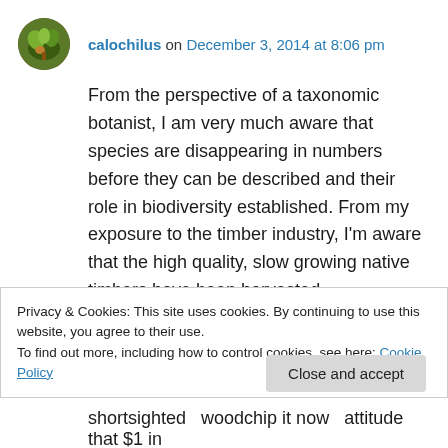calochilus on December 3, 2014 at 8:06 pm
From the perspective of a taxonomic botanist, I am very much aware that species are disappearing in numbers before they can be described and their role in biodiversity established. From my exposure to the timber industry, I'm aware that the high quality, slow growing native timbers have been harvested unsustainably for over a century and will be replaced by second rate timbers which grow fast
Privacy & Cookies: This site uses cookies. By continuing to use this website, you agree to their use.
To find out more, including how to control cookies, see here: Cookie Policy
shortsighted  woodchip it now  attitude that $1 in